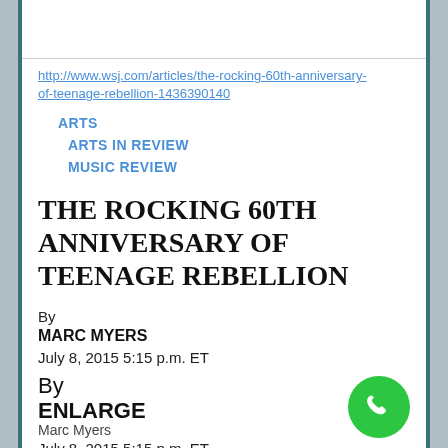http://www.wsj.com/articles/the-rocking-60th-anniversary-of-teenage-rebellion-1436390140
ARTS
ARTS IN REVIEW
MUSIC REVIEW
THE ROCKING 60TH ANNIVERSARY OF TEENAGE REBELLION
By
MARC MYERS
July 8, 2015 5:15 p.m. ET
By
ENLARGE
Marc Myers
July 8, 2015 5:15 p.m. ET